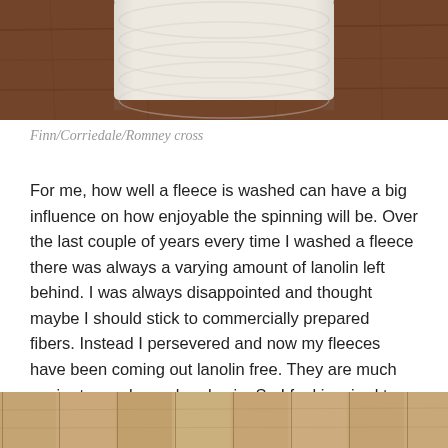[Figure (photo): Top portion of a white yarn skein resting on a wooden brown surface, cropped at the top of the page]
Finn/Corriedale/Romney cross
For me, how well a fleece is washed can have a big influence on how enjoyable the spinning will be. Over the last couple of years every time I washed a fleece there was always a varying amount of lanolin left behind. I was always disappointed and thought maybe I should stick to commercially prepared fibers. Instead I persevered and now my fleeces have been coming out lanolin free. They are much easier to comb, card and spin. So I feel inspired to share the method of washing wool that works best for me. I should also state I am working with small amounts of wool. I am not trying to wash five fleeces in a weekend. Without further ado, here's how I do it.
[Figure (photo): Bottom strip showing a wooden surface with vertical slats or boards, cut off at the bottom edge of the page]